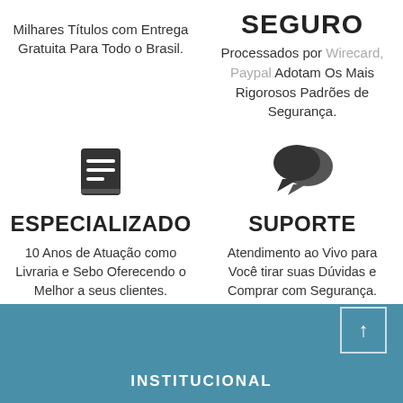Milhares Títulos com Entrega Gratuita Para Todo o Brasil.
SEGURO
Processados por Wirecard, Paypal Adotam Os Mais Rigorosos Padrões de Segurança.
[Figure (illustration): Book/document icon — dark gray rectangle with horizontal lines representing text]
ESPECIALIZADO
10 Anos de Atuação como Livraria e Sebo Oferecendo o Melhor a seus clientes.
[Figure (illustration): Two speech bubble/chat icons in dark gray]
SUPORTE
Atendimento ao Vivo para Você tirar suas Dúvidas e Comprar com Segurança.
INSTITUCIONAL